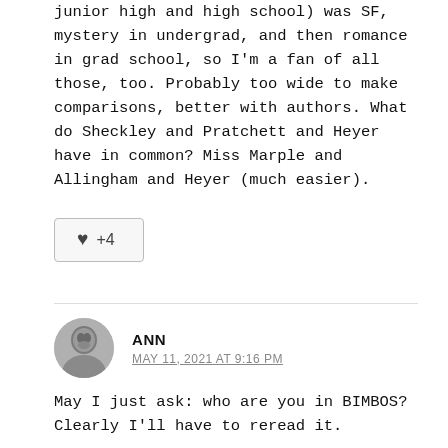junior high and high school) was SF, mystery in undergrad, and then romance in grad school, so I'm a fan of all those, too. Probably too wide to make comparisons, better with authors. What do Sheckley and Pratchett and Heyer have in common? Miss Marple and Allingham and Heyer (much easier).
[Figure (other): Like/heart button with +4 count]
[Figure (photo): Circular avatar photo of commenter Ann, a black-and-white photo of a woman]
ANN
MAY 11, 2021 AT 9:16 PM
May I just ask: who are you in BIMBOS? Clearly I'll have to reread it.